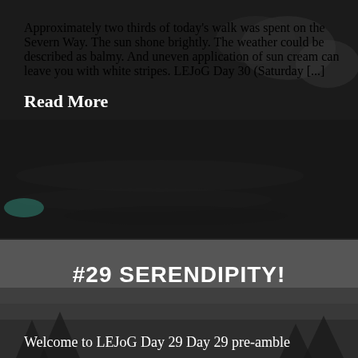Approximately two thirds of today's walk was spent on the Severn Way. The sun shone brightly. The weather could be described as balmy. And uneven application of sun cream can leave you with white stripes. LEJoG Day 30 (Saturday [...]
Read More
[Figure (photo): Background photo of people near water (canal or river scene with crowd), dark/grey toned overlay]
#29 SERENDIPITY!
Welcome to LEJoG Day 29 Day 29 pre-amble